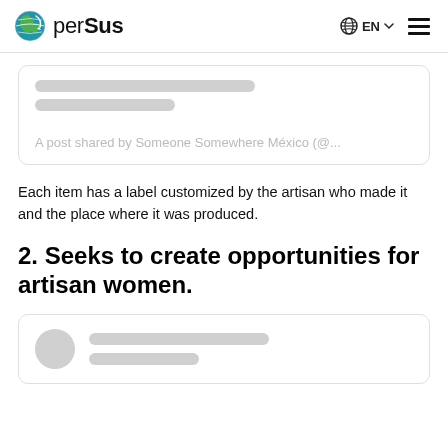perSus — EN navigation header
[Figure (screenshot): Partial social media embed card showing skeleton loading bars and caption: A post shared by Someone Somewhere México (@...]
Each item has a label customized by the artisan who made it and the place where it was produced.
2. Seeks to create opportunities for artisan women.
[Figure (screenshot): Partial social media embed card showing avatar circle and skeleton loading bars]